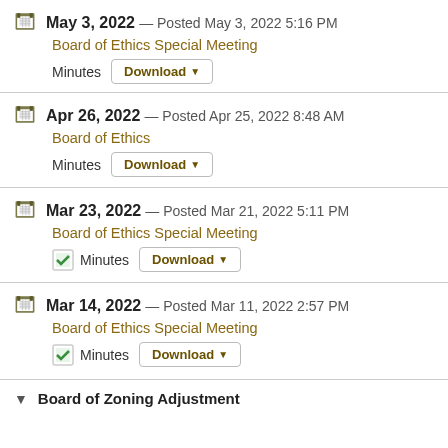May 3, 2022 — Posted May 3, 2022 5:16 PM
Board of Ethics Special Meeting
Minutes Download
Apr 26, 2022 — Posted Apr 25, 2022 8:48 AM
Board of Ethics
Minutes Download
Mar 23, 2022 — Posted Mar 21, 2022 5:11 PM
Board of Ethics Special Meeting
Minutes Download
Mar 14, 2022 — Posted Mar 11, 2022 2:57 PM
Board of Ethics Special Meeting
Minutes Download
Board of Zoning Adjustment